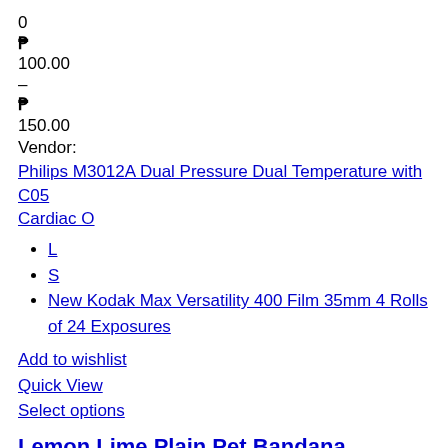0
₱
100.00
–
₱
150.00
Vendor:
Philips M3012A Dual Pressure Dual Temperature with C05 Cardiac O
L
S
New Kodak Max Versatility 400 Film 35mm 4 Rolls of 24 Exposures
Add to wishlist
Quick View
Select options
Lemon Lime Plain Pet Bandana
0
₱
100.00